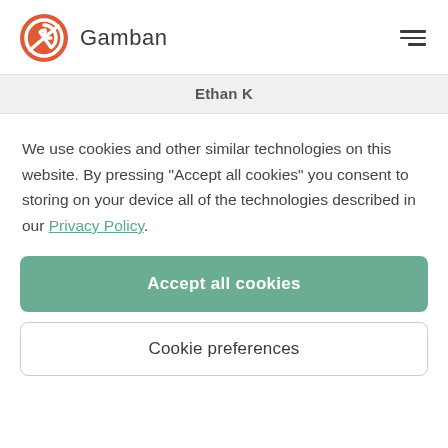[Figure (logo): Gamban logo: red/orange circular icon with stylized G and a line through it, followed by the text 'Gamban' in dark gray sans-serif, and a hamburger menu icon on the right]
Ethan K
We use cookies and other similar technologies on this website. By pressing “Accept all cookies” you consent to storing on your device all of the technologies described in our Privacy Policy.
Accept all cookies
Cookie preferences